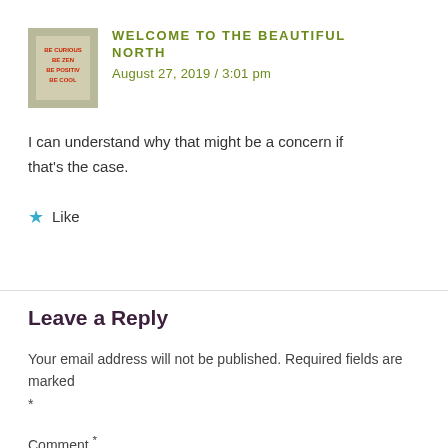[Figure (photo): Small avatar image of a bag with text 'BE CURIOUS BE ZEN BE POSITIVE BE COOL']
WELCOME TO THE BEAUTIFUL NORTH
August 27, 2019 / 3:01 pm
I can understand why that might be a concern if that's the case.
★ Like
Leave a Reply
Your email address will not be published. Required fields are marked *
Comment *